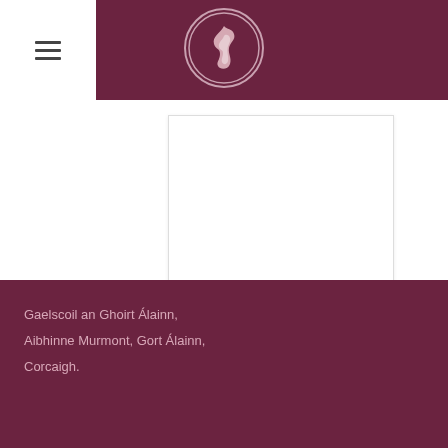Gaelscoil an Ghoirt Álainn
[Figure (logo): Circular school crest/logo with flame emblem on dark maroon background]
Gaelscoil an Ghoirt Álainn,
Aibhinne Murmont, Gort Álainn,
Corcaigh.